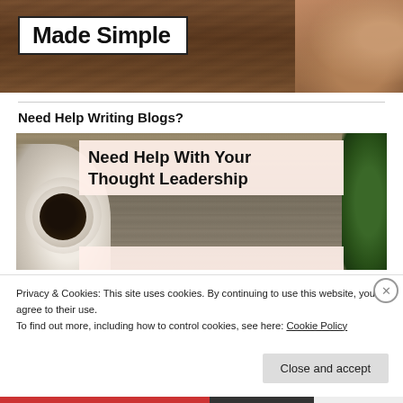[Figure (photo): Top banner image showing a wooden desk background with a white box containing the text 'Made Simple' and hands holding headphones visible on the right side]
Need Help Writing Blogs?
[Figure (photo): Blog promotional banner image showing a coffee cup on a wooden table with green plant on right, and a light-colored overlay box with text 'Need Help With Your Thought Leadership']
Privacy & Cookies: This site uses cookies. By continuing to use this website, you agree to their use.
To find out more, including how to control cookies, see here: Cookie Policy